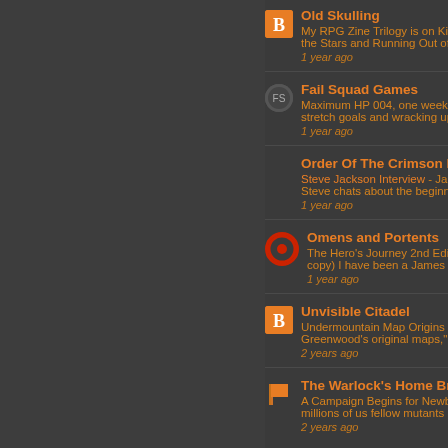Old Skulling
My RPG Zine Trilogy is on Ki... the Stars and Running Out of...
1 year ago
Fail Squad Games
Maximum HP 004, one week... stretch goals and wracking up...
1 year ago
Order Of The Crimson Die...
Steve Jackson Interview - Ja... Steve chats about the beginn...
1 year ago
Omens and Portents
The Hero's Journey 2nd Editi... copy) I have been a James M...
1 year ago
Unvisible Citadel
Undermountain Map Origins -... Greenwood's original maps,"...
2 years ago
The Warlock's Home Brew...
A Campaign Begins for Newb... millions of us fellow mutants i...
2 years ago